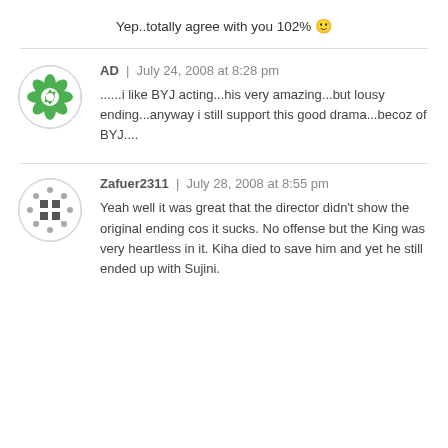Yep..totally agree with you 102% 🙂
AD | July 24, 2008 at 8:28 pm
......i like BYJ acting...his very amazing...but lousy ending...anyway i still support this good drama...becoz of BYJ....
Zafuer2311 | July 28, 2008 at 8:55 pm
Yeah well it was great that the director didn't show the original ending cos it sucks. No offense but the King was very heartless in it. Kiha died to save him and yet he still ended up with Sujini.